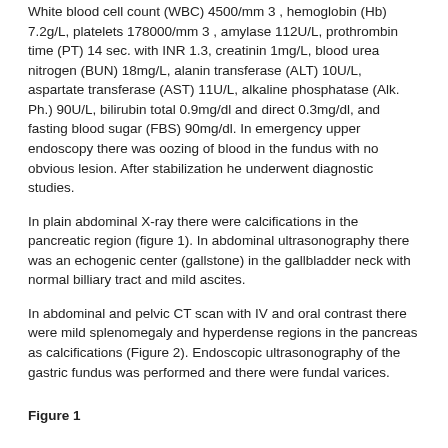White blood cell count (WBC) 4500/mm 3 , hemoglobin (Hb) 7.2g/L, platelets 178000/mm 3 , amylase 112U/L, prothrombin time (PT) 14 sec. with INR 1.3, creatinin 1mg/L, blood urea nitrogen (BUN) 18mg/L, alanin transferase (ALT) 10U/L, aspartate transferase (AST) 11U/L, alkaline phosphatase (Alk. Ph.) 90U/L, bilirubin total 0.9mg/dl and direct 0.3mg/dl, and fasting blood sugar (FBS) 90mg/dl. In emergency upper endoscopy there was oozing of blood in the fundus with no obvious lesion. After stabilization he underwent diagnostic studies.
In plain abdominal X-ray there were calcifications in the pancreatic region (figure 1). In abdominal ultrasonography there was an echogenic center (gallstone) in the gallbladder neck with normal billiary tract and mild ascites.
In abdominal and pelvic CT scan with IV and oral contrast there were mild splenomegaly and hyperdense regions in the pancreas as calcifications (Figure 2). Endoscopic ultrasonography of the gastric fundus was performed and there were fundal varices.
Figure 1